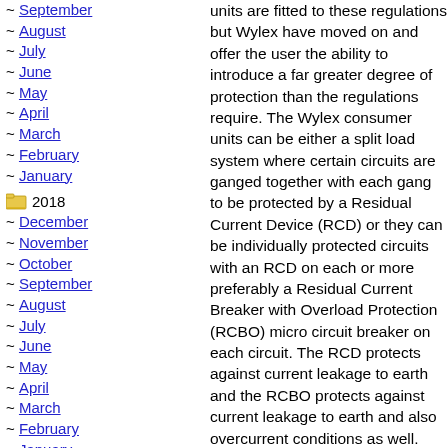~ September
~ August
~ July
~ June
~ May
~ April
~ March
~ February
~ January
2018
~ December
~ November
~ October
~ September
~ August
~ July
~ June
~ May
~ April
~ March
~ February
~ January
2017
~ December
units are fitted to these regulations but Wylex have moved on and offer the user the ability to introduce a far greater degree of protection than the regulations require. The Wylex consumer units can be either a split load system where certain circuits are ganged together with each gang to be protected by a Residual Current Device (RCD) or they can be individually protected circuits with an RCD on each or more preferably a Residual Current Breaker with Overload Protection (RCBO) micro circuit breaker on each circuit. The RCD protects against current leakage to earth and the RCBO protects against current leakage to earth and also overcurrent conditions as well. The idea that every circuit is individually protected by an RCBO is something that Lamp Post Electrical - http://www.lamppostelectrical.co.uk